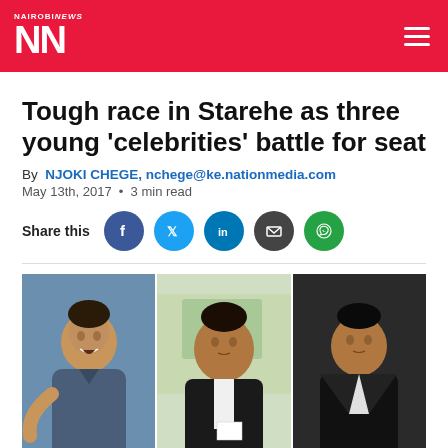NAIROBI NEWS NN
Tough race in Starehe as three young 'celebrities' battle for seat
By NJOKI CHEGE, nchege@ke.nationmedia.com
May 13th, 2017 • 3 min read
Share this [Facebook] [Twitter] [LinkedIn] [Email] [WhatsApp]
[Figure (photo): Three men side by side: left man in denim shirt laughing and pointing at camera, center man in black jacket over white shirt standing in indoor setting, right man in black jacket looking at camera.]